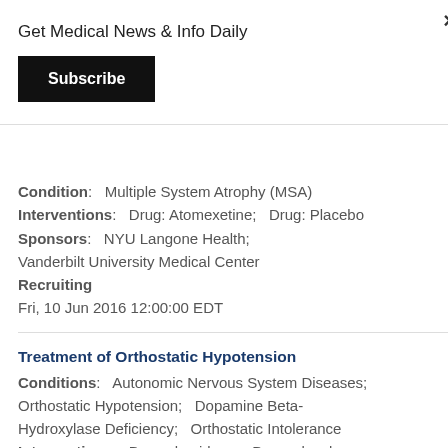Get Medical News & Info Daily
Subscribe
Condition:   Multiple System Atrophy (MSA)
Interventions:   Drug: Atomexetine;   Drug: Placebo
Sponsors:   NYU Langone Health;   Vanderbilt University Medical Center
Recruiting
Fri, 10 Jun 2016 12:00:00 EDT
Treatment of Orthostatic Hypotension
Conditions:   Autonomic Nervous System Diseases;   Orthostatic Hypotension;   Dopamine Beta-Hydroxylase Deficiency;   Orthostatic Intolerance
Interventions:   Drug: droxidopa;   Drug: placebo;   Drug: alpha-methyldopa;   Drug: carbidopa;   Drug: metyrosine;   Drug: levodopa;   Drug: atomoxetine;